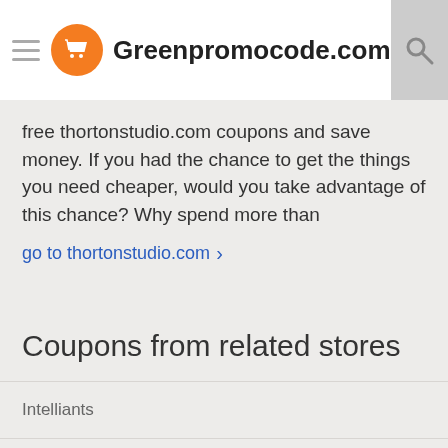Greenpromocode.com
free thortonstudio.com coupons and save money. If you had the chance to get the things you need cheaper, would you take advantage of this chance? Why spend more than
go to thortonstudio.com >
Coupons from related stores
Intelliants
Prodigalpieces
eSyndiCat